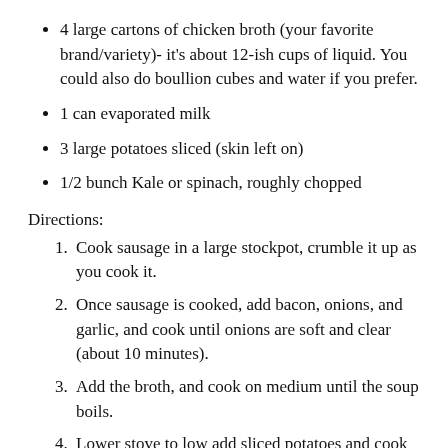4 large cartons of chicken broth (your favorite brand/variety)- it's about 12-ish cups of liquid. You could also do boullion cubes and water if you prefer.
1 can evaporated milk
3 large potatoes sliced (skin left on)
1/2 bunch Kale or spinach, roughly chopped
Directions:
Cook sausage in a large stockpot, crumble it up as you cook it.
Once sausage is cooked, add bacon, onions, and garlic, and cook until onions are soft and clear (about 10 minutes).
Add the broth, and cook on medium until the soup boils.
Lower stove to low add sliced potatoes and cook over low heat until potatoes are tender, about 30-45 minutes.
Stir in the milk, red pepper, and the kale/spinach and cook